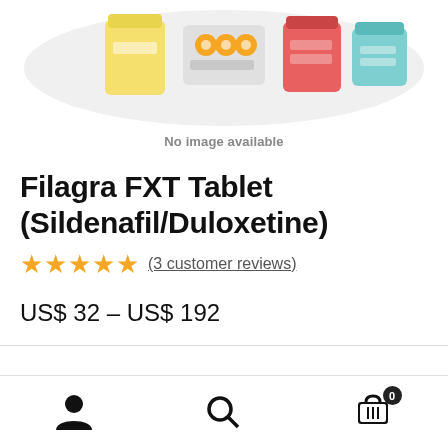[Figure (illustration): Illustration of various medicine tablets and pill blister packs in yellow, orange, red, and blue colors against a light gray background]
No image available
Filagra FXT Tablet (Sildenafil/Duloxetine)
★★★★★ (3 customer reviews)
US$ 32 – US$ 192